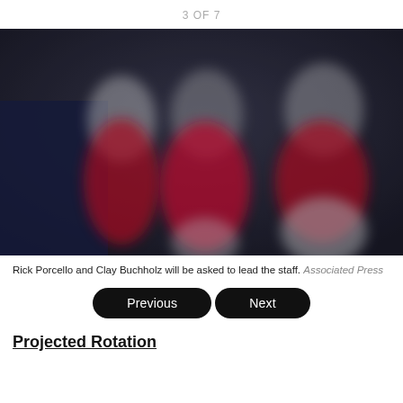3 OF 7
[Figure (photo): Blurred photo of baseball players wearing red uniforms, likely Rick Porcello and Clay Buchholz with teammates, posed together.]
Rick Porcello and Clay Buchholz will be asked to lead the staff. Associated Press
Previous | Next
Projected Rotation